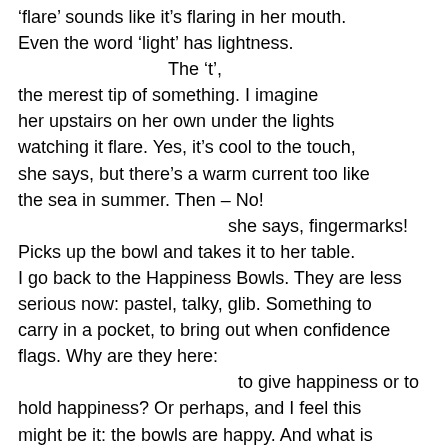'flare' sounds like it's flaring in her mouth. Even the word 'light' has lightness.
                    The 't',
the merest tip of something. I imagine her upstairs on her own under the lights watching it flare. Yes, it's cool to the touch, she says, but there's a warm current too like the sea in summer. Then – No!
                              she says, fingermarks!
Picks up the bowl and takes it to her table. I go back to the Happiness Bowls. They are less serious now: pastel, talky, glib. Something to carry in a pocket, to bring out when confidence flags. Why are they here:
                                  to give happiness or to hold happiness? Or perhaps, and I feel this might be it: the bowls are happy. And what is that when it is so small an equation, so easily etched? I nod goodbye to the woman, behind her table again. She is
                        polishing the red bowl
with a soft blue cloth, her whole attention on it.